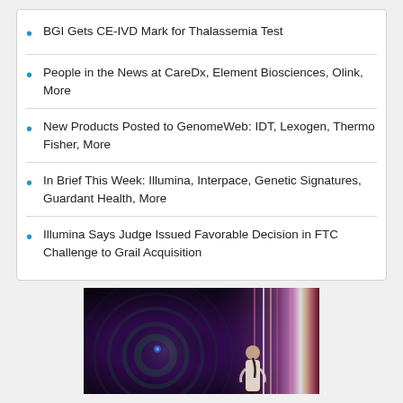BGI Gets CE-IVD Mark for Thalassemia Test
People in the News at CareDx, Element Biosciences, Olink, More
New Products Posted to GenomeWeb: IDT, Lexogen, Thermo Fisher, More
In Brief This Week: Illumina, Interpace, Genetic Signatures, Guardant Health, More
Illumina Says Judge Issued Favorable Decision in FTC Challenge to Grail Acquisition
[Figure (photo): A person standing facing a bright light display of swirling purple and pink light streaks, viewed from behind in a dark environment.]